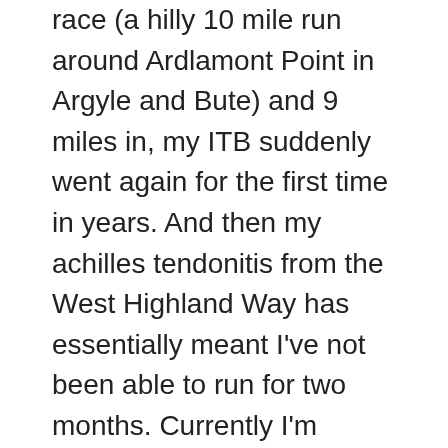race (a hilly 10 mile run around Ardlamont Point in Argyle and Bute) and 9 miles in, my ITB suddenly went again for the first time in years. And then my achilles tendonitis from the West Highland Way has essentially meant I've not been able to run for two months. Currently I'm thinking if I even get to the start of the Ironman marathon (which I massively doubt) it will be a miracle if I even make it half way round.
I do almost no regular cycling. Paul cycles to work almost every day and so has a baseline cycling fitness that far surpasses mine. Since I started doing triathlons I've been on the same trusty